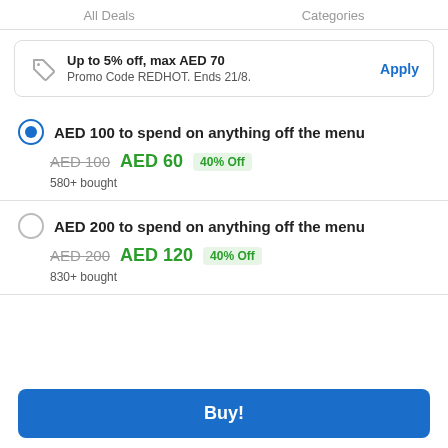All Deals    Categories
Up to 5% off, max AED 70
Promo Code REDHOT. Ends 21/8.
Apply
AED 100 to spend on anything off the menu
AED 100  AED 60  40% Off
580+ bought
AED 200 to spend on anything off the menu
AED 200  AED 120  40% Off
830+ bought
Buy!